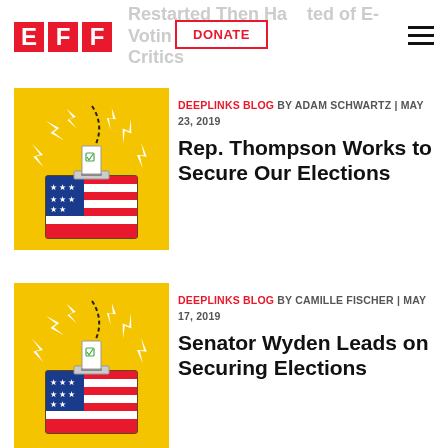EFF | Restarted Then Harassed Critics of E-Voting Critics | DONATE
[Figure (illustration): EFF voting box illustration: ballot box with stars and stripes, ballot being inserted, lightning bolts, gold/yellow background]
DEEPLINKS BLOG BY ADAM SCHWARTZ | MAY 23, 2019
Rep. Thompson Works to Secure Our Elections
[Figure (illustration): EFF voting box illustration: ballot box with stars and stripes, ballot being inserted, lightning bolts, gold/yellow background]
DEEPLINKS BLOG BY CAMILLE FISCHER | MAY 17, 2019
Senator Wyden Leads on Securing Elections